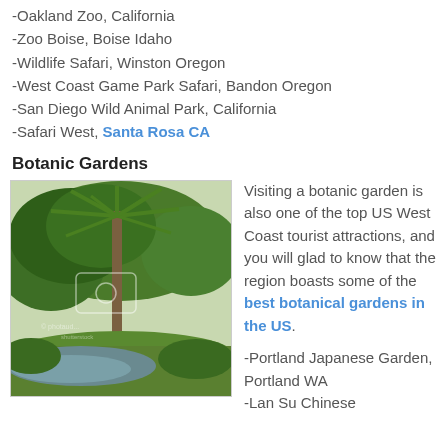-Oakland Zoo, California
-Zoo Boise, Boise Idaho
-Wildlife Safari, Winston Oregon
-West Coast Game Park Safari, Bandon Oregon
-San Diego Wild Animal Park, California
-Safari West, Santa Rosa CA
Botanic Gardens
[Figure (photo): A botanic garden scene featuring a tall palm tree with large oak trees and green shrubs surrounding a pond, watermarked photo.]
Visiting a botanic garden is also one of the top US West Coast tourist attractions, and you will glad to know that the region boasts some of the best botanical gardens in the US.
-Portland Japanese Garden, Portland WA
-Lan Su Chinese...